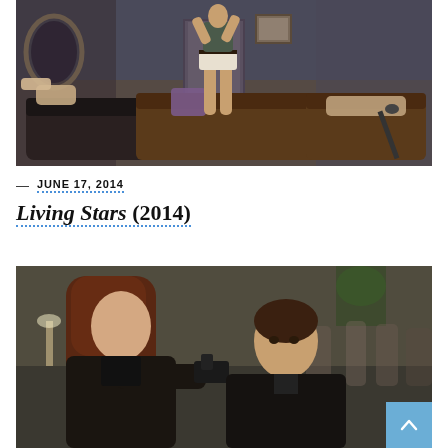[Figure (photo): A young woman in shorts and a tank top standing on a couch in a living room, with two children sitting on sofas on either side of her.]
— JUNE 17, 2014
Living Stars (2014)
[Figure (photo): Two actors in dark leather jackets — a woman with long red-brown hair and a man — in an action scene, with the woman pointing a handgun.]